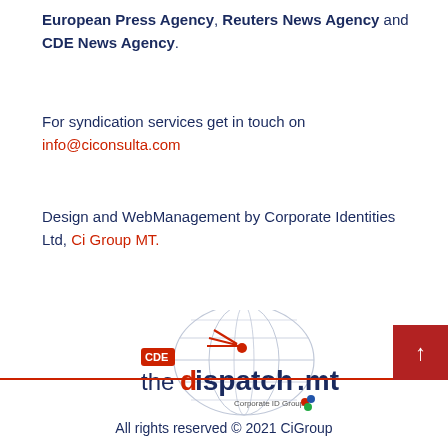European Press Agency, Reuters News Agency and CDE News Agency.
For syndication services get in touch on info@ciconsulta.com
Design and WebManagement by Corporate Identities Ltd, Ci Group MT.
[Figure (logo): thedispatch.mt logo with CDE badge, globe graphic, and Corporate ID Group branding]
All rights reserved © 2021 CiGroup